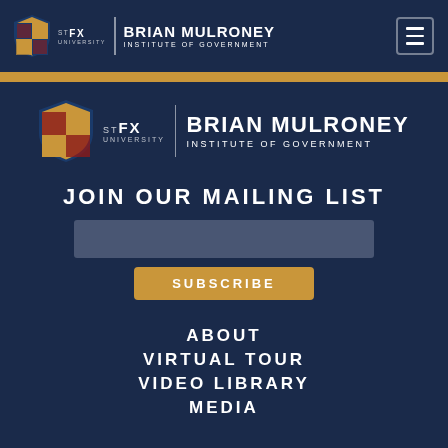StFX University | Brian Mulroney Institute of Government
[Figure (logo): StFX University Brian Mulroney Institute of Government logo centered on dark navy background]
JOIN OUR MAILING LIST
SUBSCRIBE
ABOUT
VIRTUAL TOUR
VIDEO LIBRARY
MEDIA